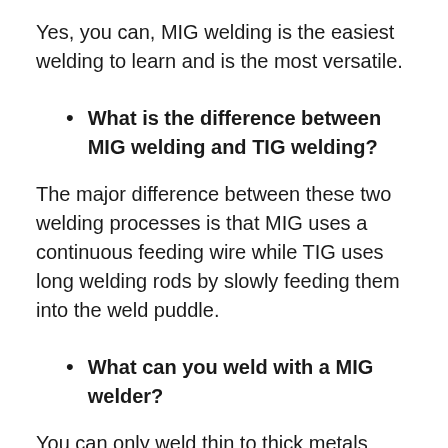Yes, you can, MIG welding is the easiest welding to learn and is the most versatile.
What is the difference between MIG welding and TIG welding?
The major difference between these two welding processes is that MIG uses a continuous feeding wire while TIG uses long welding rods by slowly feeding them into the weld puddle.
What can you weld with a MIG welder?
You can only weld thin to thick metals using MIG welders.